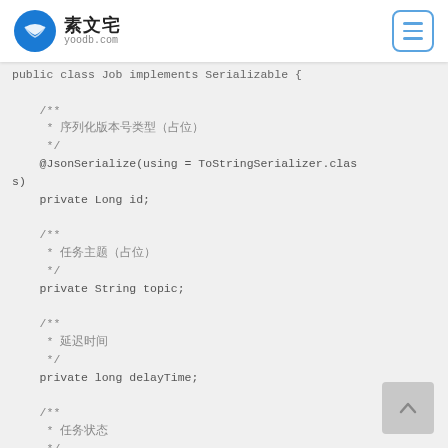素文宅 yoodb.com
public class Job implements Serializable {

    /**
     * 序列化版本号（中文占位）
     */
    @JsonSerialize(using = ToStringSerializer.class)
    private Long id;

    /**
     * 任务主题（中文占位）
     */
    private String topic;

    /**
     * 延迟时间（中文占位）
     */
    private long delayTime;

    /**
     * 任务状态（中文占位）
     */
    */